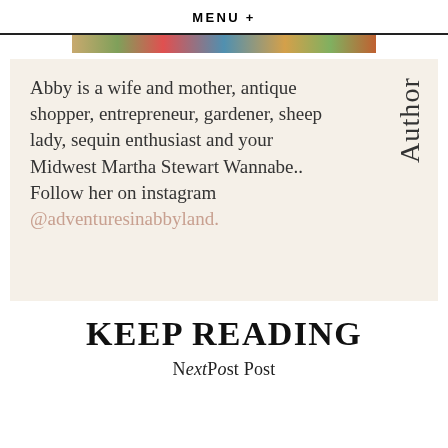MENU +
[Figure (photo): Colorful image strip at top of content area]
Abby is a wife and mother, antique shopper, entrepreneur, gardener, sheep lady, sequin enthusiast and your Midwest Martha Stewart Wannabe.. Follow her on instagram @adventuresinabbyland.
Author
KEEP READING
Next Post Post